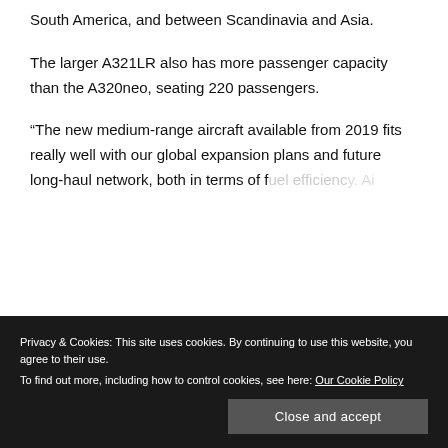South America, and between Scandinavia and Asia.
The larger A321LR also has more passenger capacity than the A320neo, seating 220 passengers.
“The new medium-range aircraft available from 2019 fits really well with our global expansion plans and future long-haul network, both in terms of increased fuel efficiency. Air...
increased competitiveness, which means that
Privacy & Cookies: This site uses cookies. By continuing to use this website, you agree to their use.
To find out more, including how to control cookies, see here: Our Cookie Policy
Close and accept